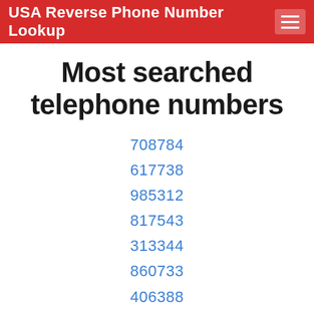USA Reverse Phone Number Lookup
Most searched telephone numbers
708784
617738
985312
817543
313344
860733
406388
703388
252820
816442
218264
920969